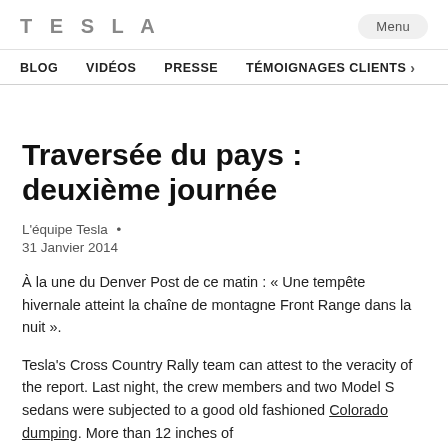TESLA  Menu
BLOG  VIDÉOS  PRESSE  TÉMOIGNAGES CLIENTS
Traversée du pays : deuxième journée
L'équipe Tesla  •  31 Janvier 2014
À la une du Denver Post de ce matin : « Une tempête hivernale atteint la chaîne de montagne Front Range dans la nuit ».
Tesla's Cross Country Rally team can attest to the veracity of the report. Last night, the crew members and two Model S sedans were subjected to a good old fashioned Colorado dumping. More than 12 inches of